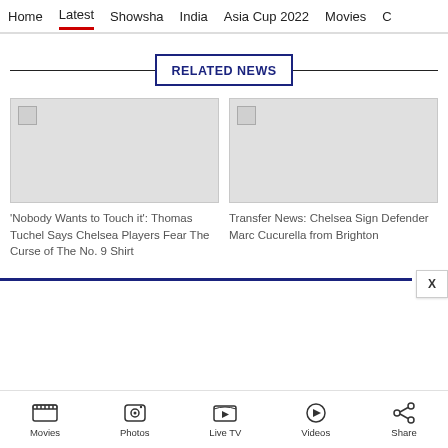Home  Latest  Showsha  India  Asia Cup 2022  Movies  C
RELATED NEWS
[Figure (photo): Placeholder image (grey rectangle) for article about Chelsea No.9 shirt curse]
'Nobody Wants to Touch it': Thomas Tuchel Says Chelsea Players Fear The Curse of The No. 9 Shirt
[Figure (photo): Placeholder image (grey rectangle) for article about Marc Cucurella transfer]
Transfer News: Chelsea Sign Defender Marc Cucurella from Brighton
Movies  Photos  Live TV  Videos  Share